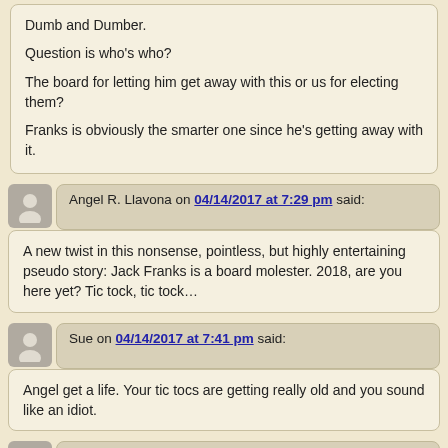Dumb and Dumber.

Question is who's who?

The board for letting him get away with this or us for electing them?

Franks is obviously the smarter one since he's getting away with it.
Angel R. Llavona on 04/14/2017 at 7:29 pm said:
A new twist in this nonsense, pointless, but highly entertaining pseudo story: Jack Franks is a board molester. 2018, are you here yet? Tic tock, tic tock…
Sue on 04/14/2017 at 7:41 pm said:
Angel get a life. Your tic tocs are getting really old and you sound like an idiot.
Angel R. Llavona on 04/14/2017 at 7:46 pm said: